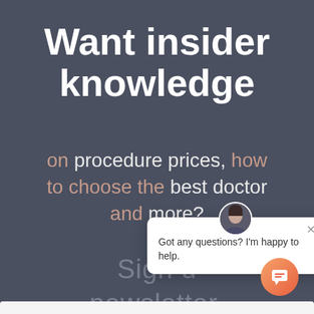Want insider knowledge
on procedure prices, how to choose the best doctor and more?
Sign up for our newsletter.
[Figure (screenshot): Chat popup with avatar of a woman and text: Got any questions? I'm happy to help. With an X close button.]
[Figure (other): Orange gradient circular chat button with chat icon at bottom right corner.]